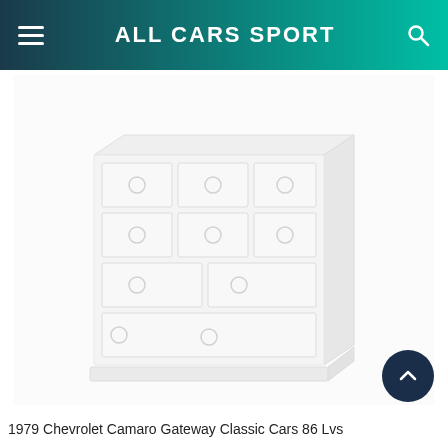ALL CARS SPORT
[Figure (photo): A white dresser/chest of drawers photographed at an angle, showing multiple drawers with circular ring pulls, blurred/faded white-on-white style image]
1979 Chevrolet Camaro Gateway Classic Cars 86 Lvs